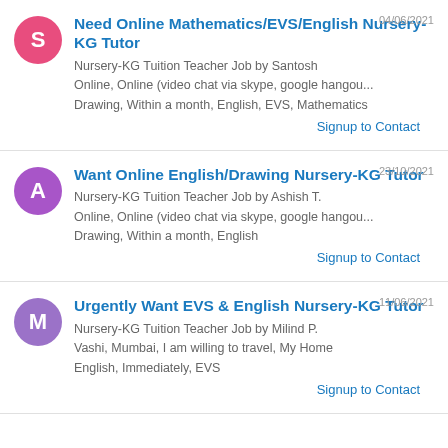Need Online Mathematics/EVS/English Nursery-KG Tutor
Nursery-KG Tuition Teacher Job by Santosh
Online, Online (video chat via skype, google hangou...
Drawing, Within a month, English, EVS, Mathematics
Signup to Contact
Want Online English/Drawing Nursery-KG Tutor
Nursery-KG Tuition Teacher Job by Ashish T.
Online, Online (video chat via skype, google hangou...
Drawing, Within a month, English
Signup to Contact
Urgently Want EVS & English Nursery-KG Tutor
Nursery-KG Tuition Teacher Job by Milind P.
Vashi, Mumbai, I am willing to travel, My Home
English, Immediately, EVS
Signup to Contact